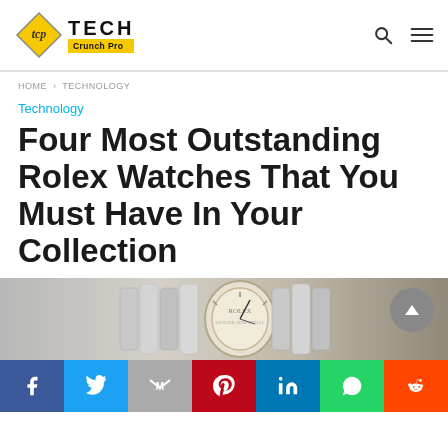Tech Crunch Pro — TECH Crunch Pro
HOME › TECHNOLOGY
Technology
Four Most Outstanding Rolex Watches That You Must Have In Your Collection
[Figure (photo): Close-up photo of Rolex watch dial and bracelet in silver/metallic tones]
Social share bar: Facebook, Twitter, Gmail, Pinterest, LinkedIn, WhatsApp, Reddit